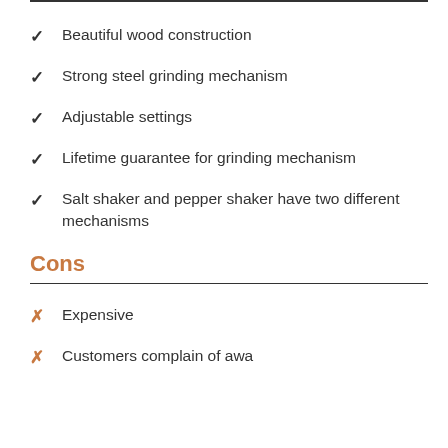Beautiful wood construction
Strong steel grinding mechanism
Adjustable settings
Lifetime guarantee for grinding mechanism
Salt shaker and pepper shaker have two different mechanisms
Cons
Expensive
Customers complain of...